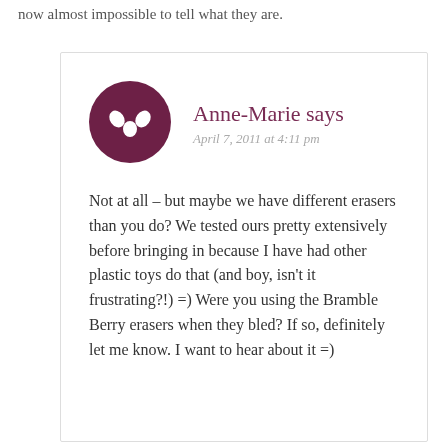now almost impossible to tell what they are.
Anne-Marie says
April 7, 2011 at 4:11 pm

Not at all – but maybe we have different erasers than you do? We tested ours pretty extensively before bringing in because I have had other plastic toys do that (and boy, isn't it frustrating?!) =) Were you using the Bramble Berry erasers when they bled? If so, definitely let me know. I want to hear about it =)